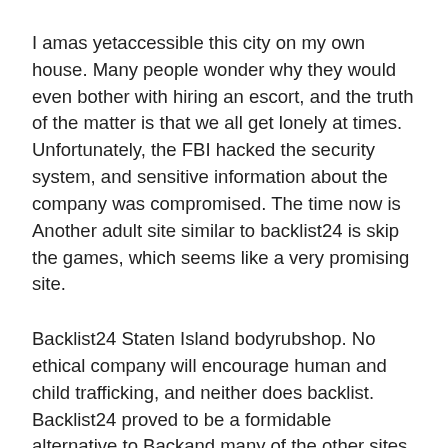I amas yetaccessible this city on my own house. Many people wonder why they would even bother with hiring an escort, and the truth of the matter is that we all get lonely at times. Unfortunately, the FBI hacked the security system, and sensitive information about the company was compromised. The time now is Another adult site similar to backlist24 is skip the games, which seems like a very promising site.
Backlist24 Staten Island bodyrubshop. No ethical company will encourage human and child trafficking, and neither does backlist. Backlist24 proved to be a formidable alternative to Backand many of the other sites offering similar sale services apartments had poor graphics, site des, and traffic. Register Help Remember Me? Why wouldn't you take advantage of an opportunity like this?
In terms of de, backlist24 feels and looks similar to the defunct bod. Look for local escorts and GFE that offer up incall